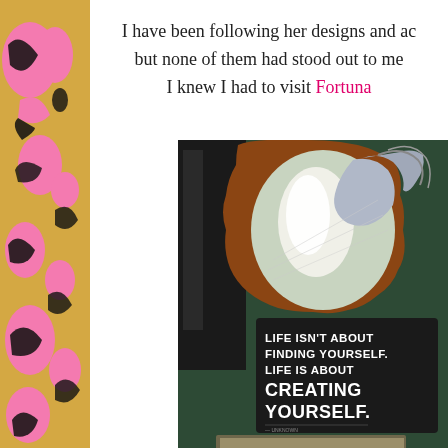[Figure (illustration): Left sidebar with gold/tan background featuring pink and black abstract blob/leopard print shapes]
I have been following her designs and ac… but none of them had stood out to me… I knew I had to visit Fortuna
[Figure (photo): Interior photo of a room with dark green wall. A decorative mirror with ornate brown frame showing a rearing horse painting. Below the mirror is a black motivational sign reading: LIFE ISN'T ABOUT FINDING YOURSELF. LIFE IS ABOUT CREATING YOURSELF. At the bottom edge, another framed item is partially visible.]